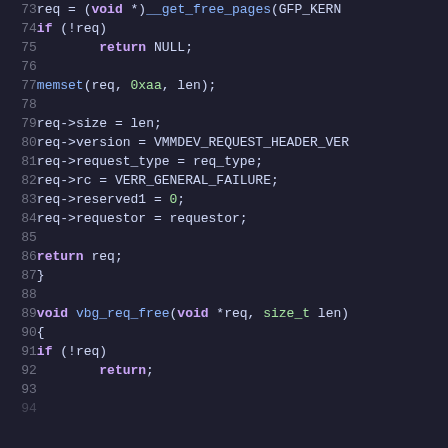[Figure (screenshot): C source code snippet showing lines 73-93 of a kernel/VirtualBox guest driver, including vbg_req_free function definition. Syntax highlighted code on dark background.]